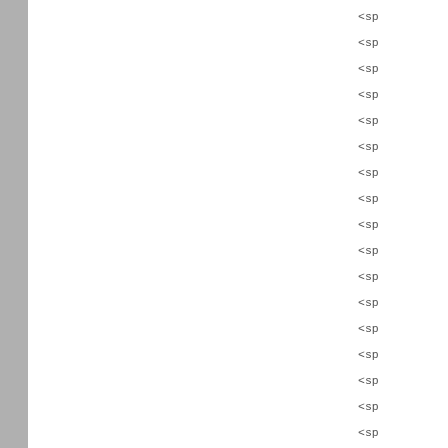<sp
<sp
<sp
<sp
<sp
<sp
<sp
<sp
<sp
<sp
<sp
<sp
<sp
<sp
<sp
<sp
<sp